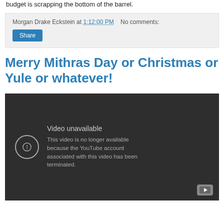budget is scrapping the bottom of the barrel.
Morgan Drake Eckstein at 1:12:00 PM    No comments:
Merry Mithras Day or Christmas or Yule or whatever!
[Figure (screenshot): Embedded YouTube video player showing 'Video unavailable' message: 'This video is no longer available because the YouTube account associated with this video has been terminated.']